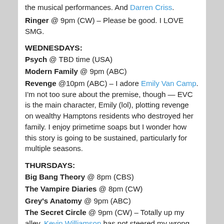the musical performances. And Darren Criss.
Ringer @ 9pm (CW) – Please be good. I LOVE SMG.
WEDNESDAYS:
Psych @ TBD time (USA)
Modern Family @ 9pm (ABC)
Revenge @10pm (ABC) – I adore Emily Van Camp. I'm not too sure about the premise, though — EVC is the main character, Emily (lol), plotting revenge on wealthy Hamptons residents who destroyed her family. I enjoy primetime soaps but I wonder how this story is going to be sustained, particularly for multiple seasons.
THURSDAYS:
Big Bang Theory @ 8pm (CBS)
The Vampire Diaries @ 8pm (CW)
Grey's Anatomy @ 9pm (ABC)
The Secret Circle @ 9pm (CW) – Totally up my alley. Kevin Williamson has not steered my wrong — see Dawson's Creek, The Vampire Diaries.